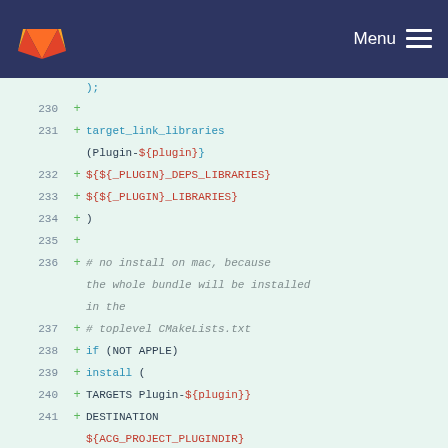GitLab Menu
[Figure (screenshot): GitLab code diff view showing CMakeLists.txt lines 230-245 with added lines (green +) showing target_link_libraries, install, endif, and foreach CMake commands]
230 +
231 + target_link_libraries (Plugin-${plugin}
232 + ${${_PLUGIN}_DEPS_LIBRARIES}
233 + ${${_PLUGIN}_LIBRARIES}
234 + )
235 +
236 + # no install on mac, because the whole bundle will be installed in the
237 + # toplevel CMakeLists.txt
238 + if (NOT APPLE)
239 + install (
240 + TARGETS Plugin-${plugin}
241 + DESTINATION ${ACG_PROJECT_PLUGINDIR}
242 + )
243 + endif ()
244 +
245 + foreach ( dir